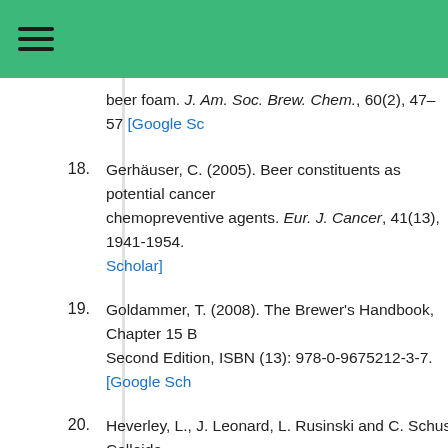beer foam. J. Am. Soc. Brew. Chem., 60(2), 47–57 [Google Scholar]
18. Gerhäuser, C. (2005). Beer constituents as potential cancer chemopreventive agents. Eur. J. Cancer, 41(13), 1941-1954. [Google Scholar]
19. Goldammer, T. (2008). The Brewer's Handbook, Chapter 15 B Second Edition, ISBN (13): 978-0-9675212-3-7. [Google Scholar]
20. Heverley, L., J. Leonard, L. Rusinski and C. Schuster, Colloida www.eng.buffalo.edu/Courses/ce435/ce529/Project3/Collo [Google Scholar]
21. Jones, B.L. and A.D. Budde (2005), How various malt endopr classes affect wort soluble protein levels. J. Cereal Sci., 41( [Google Scholar]
22. Kunze, W. (2007). Technologie Brauer und Mälzer, VLB: Berli Scholar]